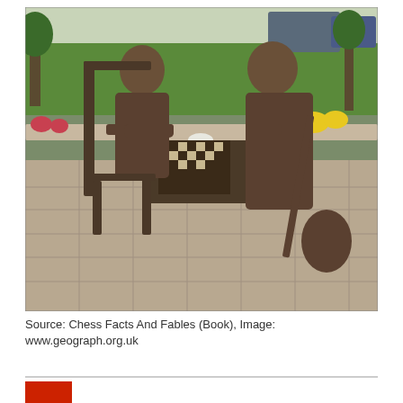[Figure (photo): Outdoor bronze sculpture of two figures playing chess at a table. One figure leans on their hand thoughtfully, the other sits with a sword and shield. The scene is set on a paved area with flowers and green grass in the background, and cars and trees visible on a street behind.]
Source: Chess Facts And Fables (Book), Image: www.geograph.org.uk